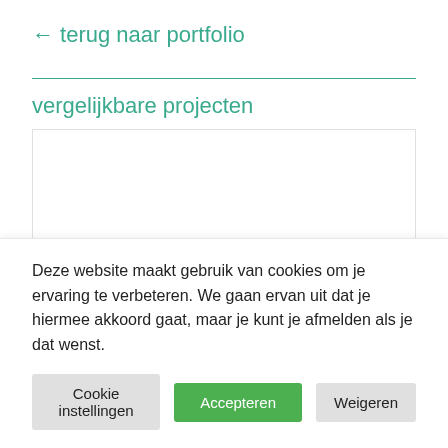← terug naar portfolio
vergelijkbare projecten
[Figure (other): Empty white project box area with a teal/green vertical bar on the right edge]
Deze website maakt gebruik van cookies om je ervaring te verbeteren. We gaan ervan uit dat je hiermee akkoord gaat, maar je kunt je afmelden als je dat wenst.
Cookie instellingen
Accepteren
Weigeren